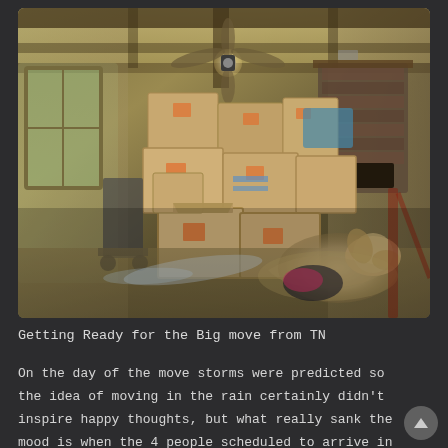[Figure (photo): A room filled with stacked cardboard moving boxes (Home Depot branded), a ceiling fan above, wooden ceiling beams, a brick fireplace in the background, a dog lying on the floor near the boxes, scattered plastic wrap on the floor, and a window with natural light on the left side.]
Getting Ready for the Big move from TN
On the day of the move storms were predicted so the idea of moving in the rain certainly didn't inspire happy thoughts, but what really sank the mood is when the 4 people scheduled to arrive in TN never showed up. We